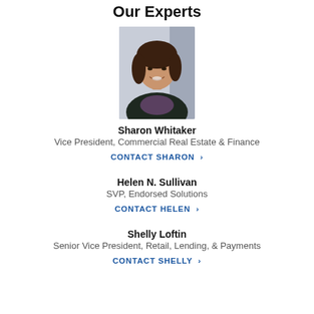Our Experts
[Figure (photo): Headshot photo of Sharon Whitaker, a woman with curly dark hair, smiling, wearing a dark blazer]
Sharon Whitaker
Vice President, Commercial Real Estate & Finance
CONTACT SHARON >
Helen N. Sullivan
SVP, Endorsed Solutions
CONTACT HELEN >
Shelly Loftin
Senior Vice President, Retail, Lending, & Payments
CONTACT SHELLY >